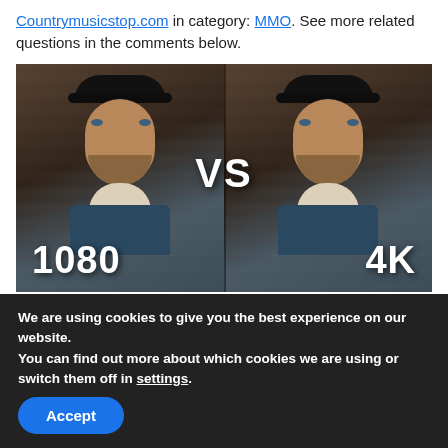Countrymusicstop.com in category: MMO. See more related questions in the comments below.
[Figure (photo): Side-by-side comparison photo of a bearded man wearing a dark cap and denim jacket with sherpa collar. Left side labeled '1080', right side labeled '4K', with 'VS' text in the center. The image illustrates 1080p vs 4K video/image quality.]
We are using cookies to give you the best experience on our website.
You can find out more about which cookies we are using or switch them off in settings.
Accept